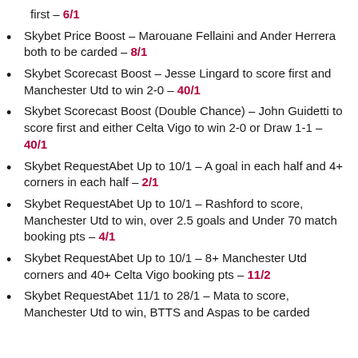first – 6/1
Skybet Price Boost – Marouane Fellaini and Ander Herrera both to be carded – 8/1
Skybet Scorecast Boost – Jesse Lingard to score first and Manchester Utd to win 2-0 – 40/1
Skybet Scorecast Boost (Double Chance) – John Guidetti to score first and either Celta Vigo to win 2-0 or Draw 1-1 – 40/1
Skybet RequestAbet Up to 10/1 – A goal in each half and 4+ corners in each half – 2/1
Skybet RequestAbet Up to 10/1 – Rashford to score, Manchester Utd to win, over 2.5 goals and Under 70 match booking pts – 4/1
Skybet RequestAbet Up to 10/1 – 8+ Manchester Utd corners and 40+ Celta Vigo booking pts – 11/2
Skybet RequestAbet 11/1 to 28/1 – Mata to score, Manchester Utd to win, BTTS and Aspas to be carded